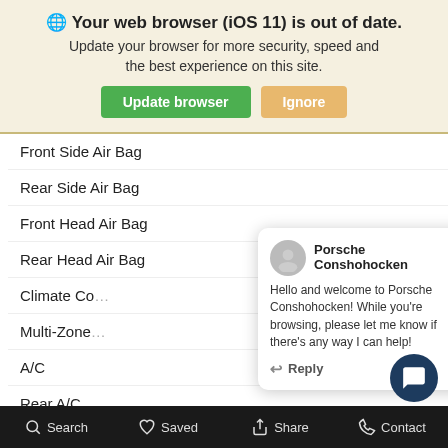🌐 Your web browser (iOS 11) is out of date. Update your browser for more security, speed and the best experience on this site.
Update browser | Ignore
Front Side Air Bag
Rear Side Air Bag
Front Head Air Bag
Rear Head Air Bag
Climate Co…
Multi-Zone…
A/C
Rear A/C
Security Sy…
AM/FM Ste…
ABS
Cruise Control
Rear Defrost
Porsche Conshohocken — Hello and welcome to Porsche Conshohocken! While you're browsing, please let me know if there's any way I can help! Reply
Search | Saved | Share | Contact